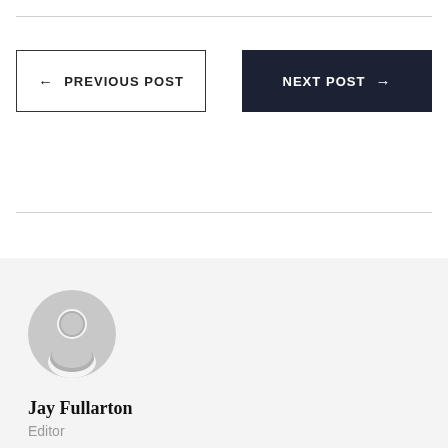← PREVIOUS POST
NEXT POST →
[Figure (illustration): Generic user avatar placeholder icon — circular gray silhouette of a person]
Jay Fullarton
Editor